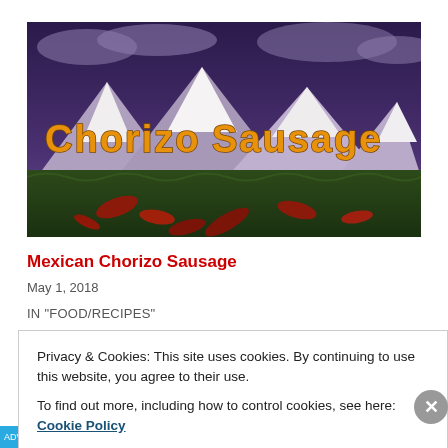[Figure (photo): 3D rendered landscape with snow-capped mountains under a purple/dark sky, green terrain with autumn leaves in the foreground, and large orange stylized text reading 'Chorizo Sausage' overlaid on the image.]
Mexican Chorizo Sausage
May 1, 2018
IN "FOOD/RECIPES"
Privacy & Cookies: This site uses cookies. By continuing to use this website, you agree to their use.
To find out more, including how to control cookies, see here: Cookie Policy
Close and accept